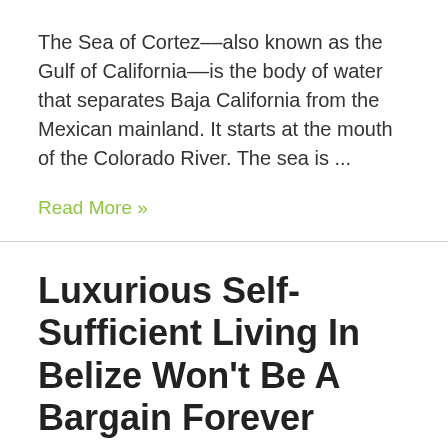The Sea of Cortez––also known as the Gulf of California––is the body of water that separates Baja California from the Mexican mainland. It starts at the mouth of the Colorado River. The sea is ...
Read More »
Luxurious Self-Sufficient Living In Belize Won't Be A Bargain Forever
Leave a Comment / Caribbean & Central America, Top Investments / By Con Murphy